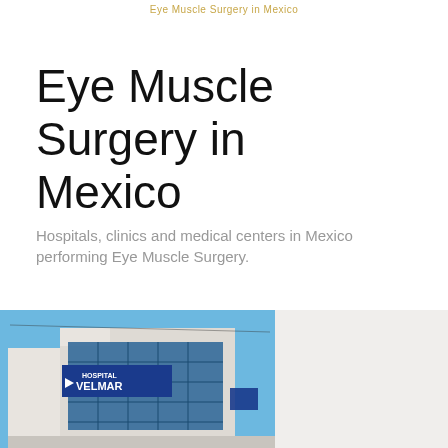Eye Muscle Surgery in Mexico
Eye Muscle Surgery in Mexico
Hospitals, clinics and medical centers in Mexico performing Eye Muscle Surgery.
[Figure (photo): Exterior photograph of Hospital Velmar building, a multi-story white and blue glass building with a blue sign reading HOSPITAL VELMAR, photographed against a clear blue sky.]